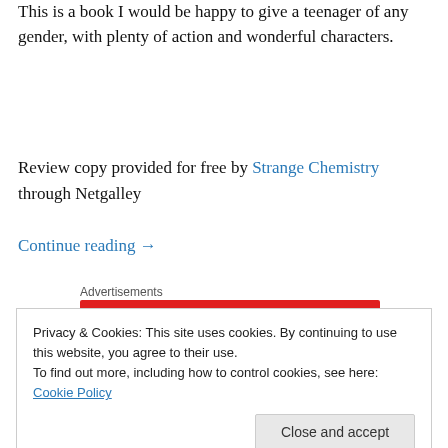This is a book I would be happy to give a teenager of any gender, with plenty of action and wonderful characters.
Review copy provided for free by Strange Chemistry through Netgalley
Continue reading →
Advertisements
[Figure (other): Red advertisement banner]
Privacy & Cookies: This site uses cookies. By continuing to use this website, you agree to their use.
To find out more, including how to control cookies, see here: Cookie Policy
Close and accept